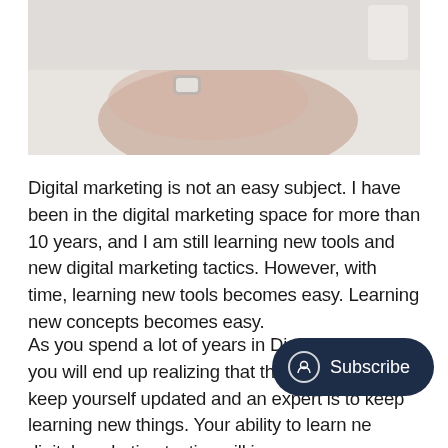[Figure (photo): Person resting on white surface with hands folded, wearing a watch, viewed from above]
Digital marketing is not an easy subject. I have been in the digital marketing space for more than 10 years, and I am still learning new tools and new digital marketing tactics. However, with time, learning new tools becomes easy. Learning new concepts becomes easy.
As you spend a lot of years in Digital Marketing, you will end up realizing that the only way is to keep yourself updated and an expert is to keep learning new things. Your ability to learn new digital marketing tactics will improve as you